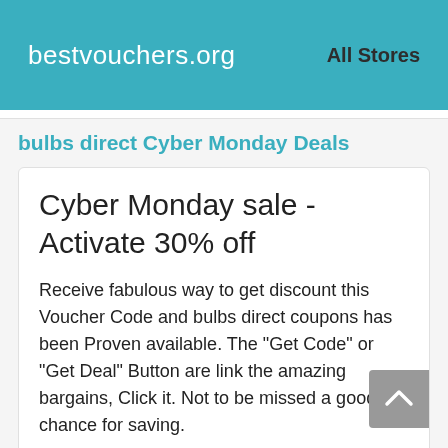bestvouchers.org   All Stores
bulbs direct Cyber Monday Deals
Cyber Monday sale - Activate 30% off
Receive fabulous way to get discount this Voucher Code and bulbs direct coupons has been Proven available. The "Get Code" or "Get Deal" Button are link the amazing bargains, Click it. Not to be missed a good chance for saving.
48 Used